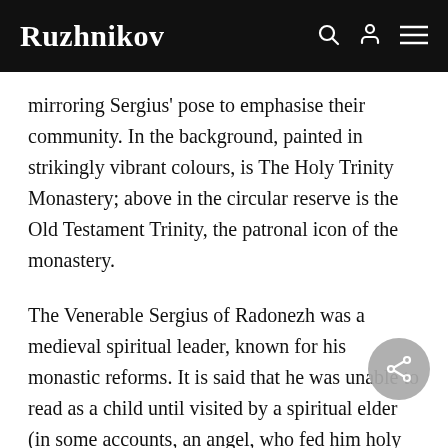Ruzhnikov
mirroring Sergius' pose to emphasise their community. In the background, painted in strikingly vibrant colours, is The Holy Trinity Monastery; above in the circular reserve is the Old Testament Trinity, the patronal icon of the monastery.
The Venerable Sergius of Radonezh was a medieval spiritual leader, known for his monastic reforms. It is said that he was unable to read as a child until visited by a spiritual elder (in some accounts, an angel, who fed him holy bread. With his brother,